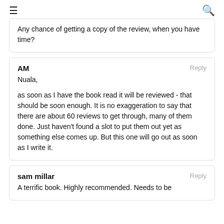≡  🔍
Any chance of getting a copy of the review, when you have time?
AM
Reply

Nuala,

as soon as I have the book read it will be reviewed - that should be soon enough. It is no exaggeration to say that there are about 60 reviews to get through, many of them done. Just haven't found a slot to put them out yet as something else comes up. But this one will go out as soon as I write it.
sam millar
Reply

A terrific book. Highly recommended. Needs to be